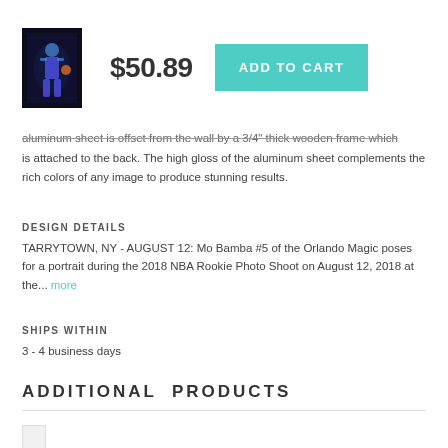[Figure (photo): Basketball player product thumbnail image showing Mo Bamba of the Orlando Magic in a dark/blue-lit portrait]
$50.89
ADD TO CART
aluminum sheet is offset from the wall by a 3/4" thick wooden frame which is attached to the back. The high gloss of the aluminum sheet complements the rich colors of any image to produce stunning results.
DESIGN DETAILS
TARRYTOWN, NY - AUGUST 12: Mo Bamba #5 of the Orlando Magic poses for a portrait during the 2018 NBA Rookie Photo Shoot on August 12, 2018 at the... more
SHIPS WITHIN
3 - 4 business days
ADDITIONAL PRODUCTS
[Figure (photo): Small product thumbnail at bottom of page]